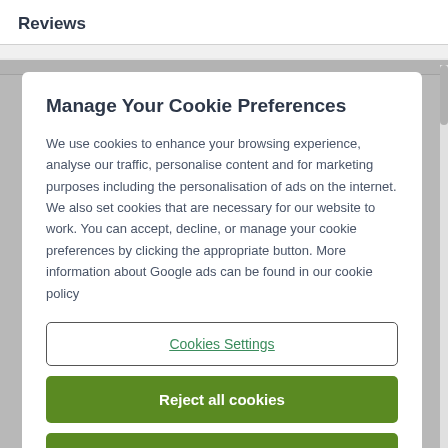Reviews
Manage Your Cookie Preferences
We use cookies to enhance your browsing experience, analyse our traffic, personalise content and for marketing purposes including the personalisation of ads on the internet. We also set cookies that are necessary for our website to work. You can accept, decline, or manage your cookie preferences by clicking the appropriate button. More information about Google ads can be found in our cookie policy
Cookies Settings
Reject all cookies